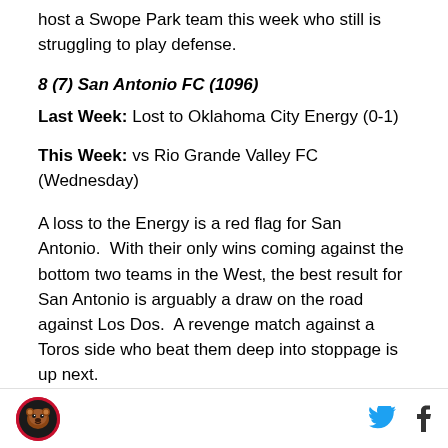host a Swope Park team this week who still is struggling to play defense.
8 (7) San Antonio FC (1096)
Last Week: Lost to Oklahoma City Energy (0-1)
This Week: vs Rio Grande Valley FC (Wednesday)
A loss to the Energy is a red flag for San Antonio.  With their only wins coming against the bottom two teams in the West, the best result for San Antonio is arguably a draw on the road against Los Dos.  A revenge match against a Toros side who beat them deep into stoppage is up next.
9 (10) Real Monarchs (1000)